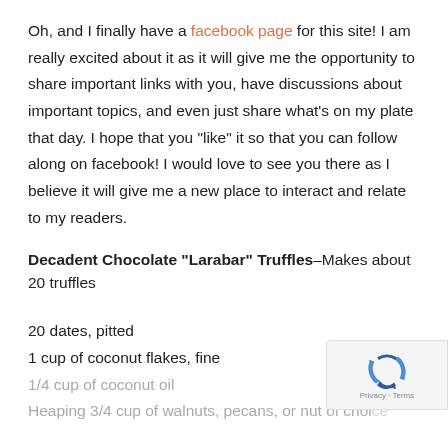Oh, and I finally have a facebook page for this site! I am really excited about it as it will give me the opportunity to share important links with you, have discussions about important topics, and even just share what's on my plate that day. I hope that you "like" it so that you can follow along on facebook! I would love to see you there as I believe it will give me a new place to interact and relate to my readers.
Decadent Chocolate “Larabar” Truffles–Makes about 20 truffles
20 dates, pitted
1 cup of coconut flakes, fine
1/4 cup of coconut oil
Heaping 3/4 cup of walnuts, pecans, or nut of choice